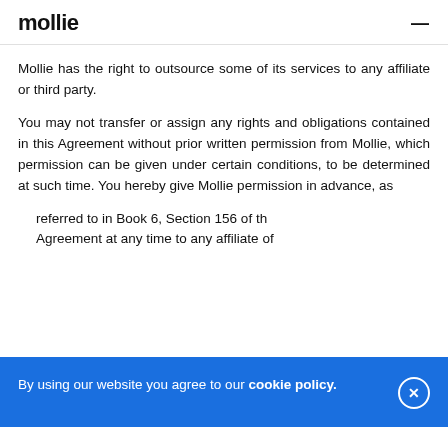mollie
Mollie has the right to outsource some of its services to any affiliate or third party.
You may not transfer or assign any rights and obligations contained in this Agreement without prior written permission from Mollie, which permission can be given under certain conditions, to be determined at such time. You hereby give Mollie permission in advance, as referred to in Book 6, Section 156 of the Dutch Civil Code, to transfer this Agreement at any time to any affiliate of Mollie or any third party designated by...
By using our website you agree to our cookie policy.